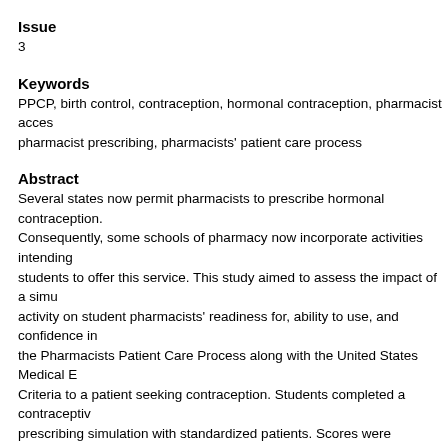Issue
3
Keywords
PPCP, birth control, contraception, hormonal contraception, pharmacist access, pharmacist prescribing, pharmacists' patient care process
Abstract
Several states now permit pharmacists to prescribe hormonal contraception. Consequently, some schools of pharmacy now incorporate activities intending students to offer this service. This study aimed to assess the impact of a simu activity on student pharmacists' readiness for, ability to use, and confidence in the Pharmacists Patient Care Process along with the United States Medical E Criteria to a patient seeking contraception. Students completed a contraceptiv prescribing simulation with standardized patients. Scores were analyzed for sa appropriate prescribing practices. Pre- and post-workshop surveys measured and perceived preparedness. Chi-square and Mann-Whitney U tests were use analyze categorical variables and Likert-scale data, respectively.The mean ac was 86% (median 90%), with significant change in student confidence of abilit complete the process ( < 0.0001). The majority of students at baseline (52.2% follow up (53.2%) reported needing more practice during advanced pharmacy experiences (APPEs) to feel prepared. There was a significant change pre/pos students who agreed that their curriculum prepared them (15% to 28.7%, = 0. study suggests that students are able to safely and appropriately prescribe co in a simulated activity. The activity increased student reported confidence and